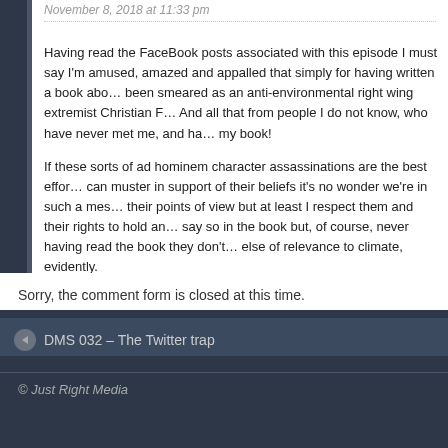November 8, 2018 at 11:33 pm
Having read the FaceBook posts associated with this episode I must say I'm amused, amazed and appalled that simply for having written a book about climate I've been smeared as an anti-environmental right wing extremist Christian F… And all that from people I do not know, who have never met me, and ha… my book!
If these sorts of ad hominem character assassinations are the best effo… can muster in support of their beliefs it's no wonder we're in such a mes… their points of view but at least I respect them and their rights to hold an… say so in the book but, of course, never having read the book they don't… else of relevance to climate, evidently.
Sorry, the comment form is closed at this time.
DMS 032 – The Twitter trap
© Just Right Media